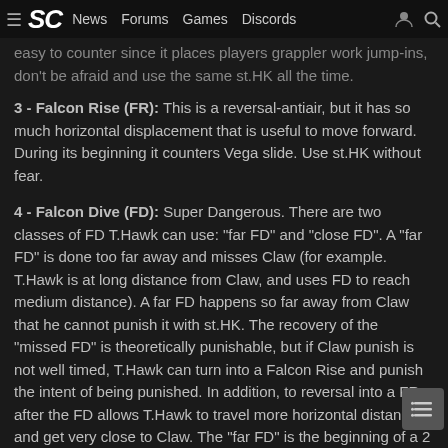≡ SC News Forums Games Discords
easy to counter since it places players grappler work jump-ins, don't be afraid and use the same st.HK all the time.
3 - Falcon Rise (FR): This is a reversal-antiair, but it has so much horizontal displacement that is useful to move forward. During its beginning it counters Vega slide. Use st.HK without fear.
4 - Falcon Dive (FD): Super Dangerous. There are two classes of FD T.Hawk can use: "far FD" and "close FD". A "far FD" is done too far away and misses Claw (for example. T.Hawk is at long distance from Claw, and uses FD to reach medium distance). A far FD happens so far away from Claw that he cannot punish it with st.HK. The recovery of the "missed FD" is theoretically punishable, but if Claw punish is not well timed, T.Hawk can turn into a Falcon Rise and punish the intent of being punished. In addition, to reversal into a FR after the FD allows T.Hawk to travel more horizontal distance and get very close to Claw. The "far FD" is the beginning of a 2 step strategy, and it may be easier to counter the second part (a FR or a jump-in).
The "close FD" is the worst. It is super-fast and If he hits you w